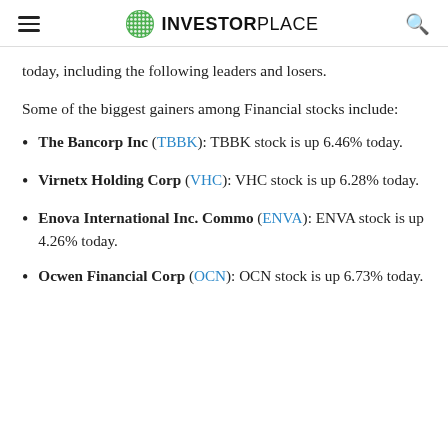INVESTORPLACE
today, including the following leaders and losers.
Some of the biggest gainers among Financial stocks include:
The Bancorp Inc (TBBK): TBBK stock is up 6.46% today.
Virnetx Holding Corp (VHC): VHC stock is up 6.28% today.
Enova International Inc. Commo (ENVA): ENVA stock is up 4.26% today.
Ocwen Financial Corp (OCN): OCN stock is up 6.73% today.